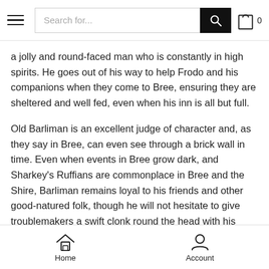Search for...
a jolly and round-faced man who is constantly in high spirits. He goes out of his way to help Frodo and his companions when they come to Bree, ensuring they are sheltered and well fed, even when his inn is all but full.
Old Barliman is an excellent judge of character and, as they say in Bree, can even see through a brick wall in time. Even when events in Bree grow dark, and Sharkey's Ruffians are commonplace in Bree and the Shire, Barliman remains loyal to his friends and other good-natured folk, though he will not hesitate to give troublemakers a swift clonk round the head with his cudgel if needs be.
Home   Account